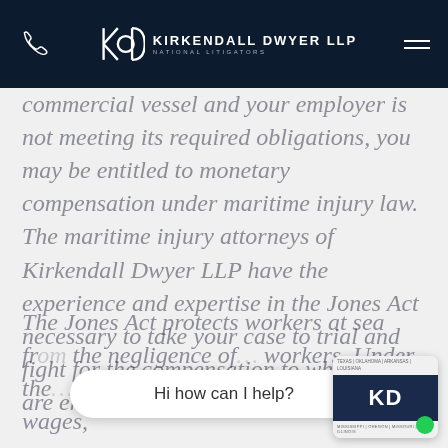[Figure (logo): Kirkendall Dwyer LLP National Litigators logo with phone icon and hamburger menu on dark navy header]
commercial vessel and your employer is not meeting its required obligations, you may be entitled to monetary compensation under maritime injury law. The maritime injury attorneys of Kirkendall Dwyer LLP have the experience and expertise in the Jones Act necessary to take your case to trial and fight for the compensation to which you are entitled.
The Jones Act protects workers at sea from the negligence of ... workers. Under the ... right to seek compensation for lost wages,